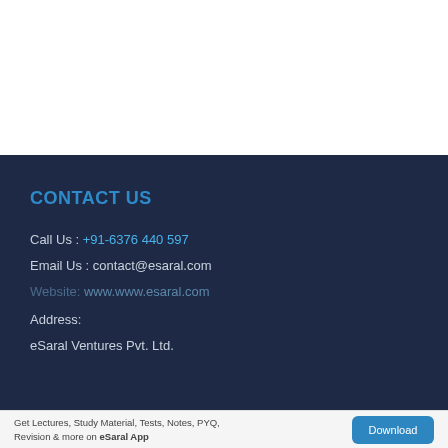CONTACT US
Call Us : +91-6376 440 597
Email Us : contact@esaral.com
Website: www.www.esaral.com
Address:
eSaral Ventures Pvt. Ltd.
Get Lectures, Study Material, Tests, Notes, PYQ, Revision & more on eSaral App  Download